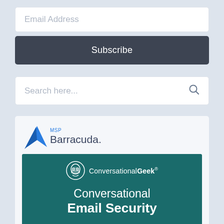Email Address
Subscribe
Search here...
[Figure (logo): MSP Barracuda logo with blue fin/shark icon]
[Figure (infographic): ConversationalGeek advertisement for Barracuda MSP. Teal background with ConversationalGeek logo (cartoon face with glasses) and text: Conversational Email Security]